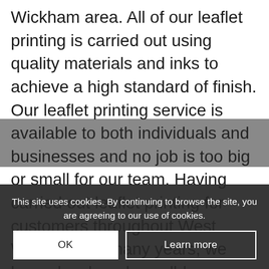Wickham area. All of our leaflet printing is carried out using quality materials and inks to achieve a high standard of finish. Our leaflet printing service is available to both individuals and businesses and no job is too big or small for our team. Having carried out leaflet printing for customers throughout West Wickham for many years, we have developed a well-known reputation for the service we provide. If you have any questions about the leaflet printing service we offer, then please don't hesitate to get in touch with us. We have a team on hand to answer your queries with enquiries.
This site uses cookies. By continuing to browse the site, you are agreeing to our use of cookies.
OK
Learn more